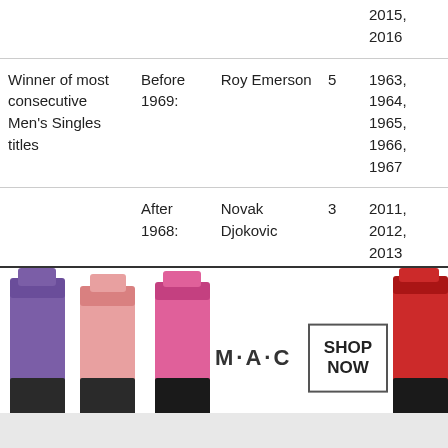| Record | Era | Player | Number | Years |
| --- | --- | --- | --- | --- |
|  |  |  |  | 2015, 2016 |
| Winner of most consecutive Men's Singles titles | Before 1969: | Roy Emerson | 5 | 1963, 1964, 1965, 1966, 1967 |
|  | After 1968: | Novak Djokovic | 3 | 2011, 2012, 2013 |
| Winner of most Men's Doubles titles | Before 1969: | Adrian Quist | 10 | 1936, 1937, 1938, 1939, 194... |
[Figure (photo): MAC Cosmetics advertisement showing lipsticks in purple, pink, and red colors with MAC logo and SHOP NOW button]